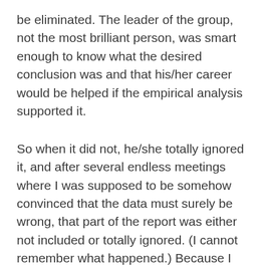be eliminated. The leader of the group, not the most brilliant person, was smart enough to know what the desired conclusion was and that his/her career would be helped if the empirical analysis supported it.
So when it did not, he/she totally ignored it, and after several endless meetings where I was supposed to be somehow convinced that the data must surely be wrong, that part of the report was either not included or totally ignored. (I cannot remember what happened.) Because I was not brave or stubborn enough, I gave up a (hopeless) struggle after a couple of attempts and went back to my numbers and equations.